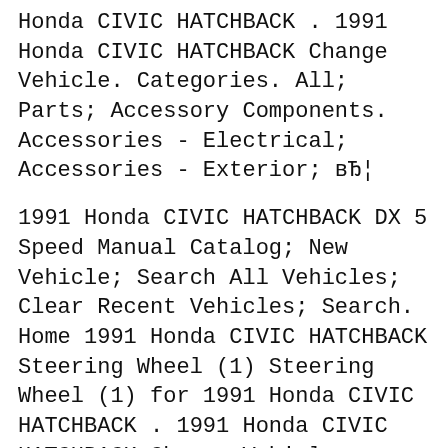Honda CIVIC HATCHBACK . 1991 Honda CIVIC HATCHBACK Change Vehicle. Categories. All; Parts; Accessory Components. Accessories - Electrical; Accessories - Exterior; вЂ¦
1991 Honda CIVIC HATCHBACK DX 5 Speed Manual Catalog; New Vehicle; Search All Vehicles; Clear Recent Vehicles; Search. Home 1991 Honda CIVIC HATCHBACK Steering Wheel (1) Steering Wheel (1) for 1991 Honda CIVIC HATCHBACK . 1991 Honda CIVIC HATCHBACK Change Vehicle. Categories. All; Parts; Accessory Components. Accessories - Electrical; Accessories - Exterior; Accessories - Interior; вЂ¦ Honda Civic 1991 Hatch